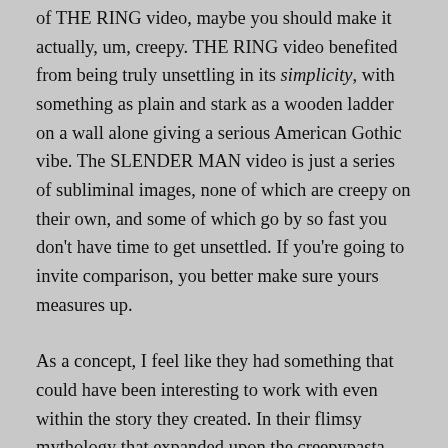of THE RING video, maybe you should make it actually, um, creepy. THE RING video benefited from being truly unsettling in its simplicity, with something as plain and stark as a wooden ladder on a wall alone giving a serious American Gothic vibe. The SLENDER MAN video is just a series of subliminal images, none of which are creepy on their own, and some of which go by so fast you don't have time to get unsettled. If you're going to invite comparison, you better make sure yours measures up.
As a concept, I feel like they had something that could have been interesting to work with even within the story they created. In their flimsy mythology that expanded upon the creepypasta, SLENDER MAN was an other-dimensional entity so strange to our dimension that to come into contact with him could change your perception, even cause a person to go mad. And they kept hinting at it